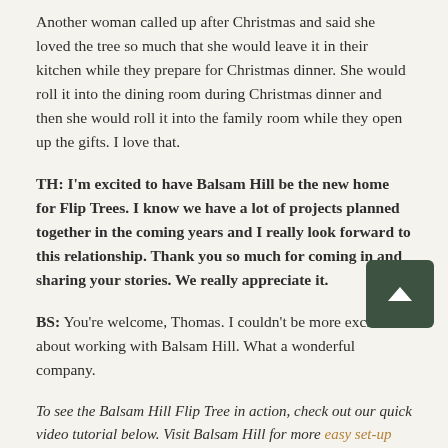Another woman called up after Christmas and said she loved the tree so much that she would leave it in their kitchen while they prepare for Christmas dinner. She would roll it into the dining room during Christmas dinner and then she would roll it into the family room while they open up the gifts. I love that.
TH: I'm excited to have Balsam Hill be the new home for Flip Trees. I know we have a lot of projects planned together in the coming years and I really look forward to this relationship. Thank you so much for coming in and sharing your stories. We really appreciate it.
BS: You're welcome, Thomas. I couldn't be more excited about working with Balsam Hill. What a wonderful company.
To see the Balsam Hill Flip Tree in action, check out our quick video tutorial below. Visit Balsam Hill for more easy set-up Christmas trees.